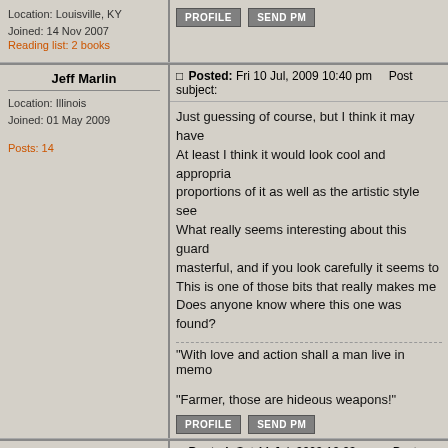Location: Louisville, KY
Joined: 14 Nov 2007
Reading list: 2 books
Posts: 675
PROFILE  SEND PM
Jeff Marlin
Location: Illinois
Joined: 01 May 2009
Posts: 14
Posted: Fri 10 Jul, 2009 10:40 pm    Post subject:
Just guessing of course, but I think it may have At least I think it would look cool and appropria proportions of it as well as the artistic style see What really seems interesting about this guard masterful, and if you look carefully it seems to This is one of those bits that really makes me Does anyone know where this one was found?
"With love and action shall a man live in memo
"Farmer, those are hideous weapons!"
PROFILE  SEND PM
Tim Lison
Location: Chicago, Illinois
Joined: 05 Aug 2004
Likes: 1 page
Posted: Sat 11 Jul, 2009 12:23 am    Post subject:
Here are the top and detail view as well.....
Attachment: 30.29 KB